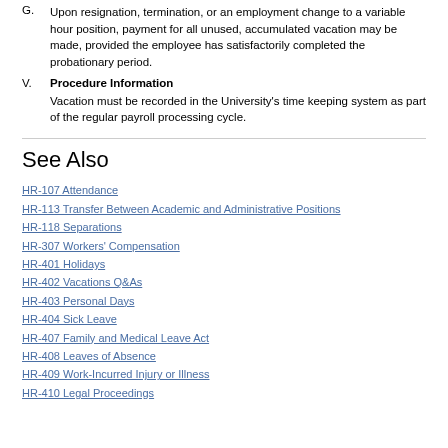G. Upon resignation, termination, or an employment change to a variable hour position, payment for all unused, accumulated vacation may be made, provided the employee has satisfactorily completed the probationary period.
V. Procedure Information
Vacation must be recorded in the University's time keeping system as part of the regular payroll processing cycle.
See Also
HR-107 Attendance
HR-113 Transfer Between Academic and Administrative Positions
HR-118 Separations
HR-307 Workers' Compensation
HR-401 Holidays
HR-402 Vacations Q&As
HR-403 Personal Days
HR-404 Sick Leave
HR-407 Family and Medical Leave Act
HR-408 Leaves of Absence
HR-409 Work-Incurred Injury or Illness
HR-410 Legal Proceedings